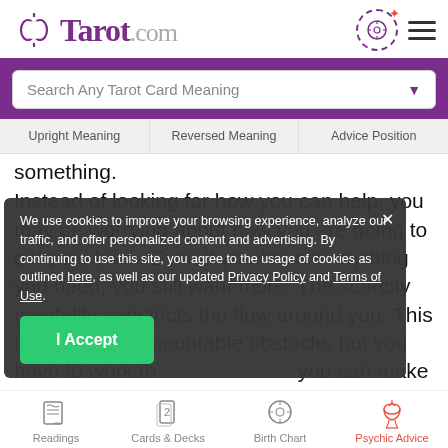[Figure (logo): Tarot.com logo with twin crescent moon symbol in purple]
Search Any Tarot Card Meaning
Upright Meaning | Reversed Meaning | Advice Position
something.
Instead of looking for how you can help, you may be worrying about how you are going to get paid back. Even if you have everything you need, you still want more. The scarcity mentality constricts the flow around you. This is not an insurmountable obstacle, but you have to work through it before you can make progress.
We use cookies to improve your browsing experience, analyze our traffic, and offer personalized content and advertising. By continuing to use this site, you agree to the usage of cookies as outlined here, as well as our updated Privacy Policy and Terms of Use.
I Accept
Readings | Cards & Decks | Birth Chart | Psychic Advice